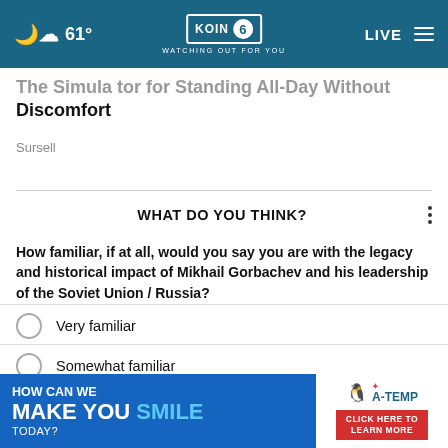KOIN 6 — WATCHING OUT FOR YOU | 61° | LIVE
Discomfort
Sursell
WHAT DO YOU THINK?
How familiar, if at all, would you say you are with the legacy and historical impact of Mikhail Gorbachev and his leadership of the Soviet Union / Russia?
Very familiar
Somewhat familiar
Not at all familiar
O
[Figure (screenshot): Advertisement banner: HOW CAN WE MAKE YOU SMILE TODAY? with A-TEMP logo and CLICK HERE TO LEARN MORE button]